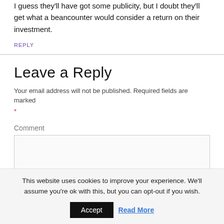I guess they'll have got some publicity, but I doubt they'll get what a beancounter would consider a return on their investment.
REPLY
Leave a Reply
Your email address will not be published. Required fields are marked *
Comment
This website uses cookies to improve your experience. We'll assume you're ok with this, but you can opt-out if you wish.
Accept  Read More